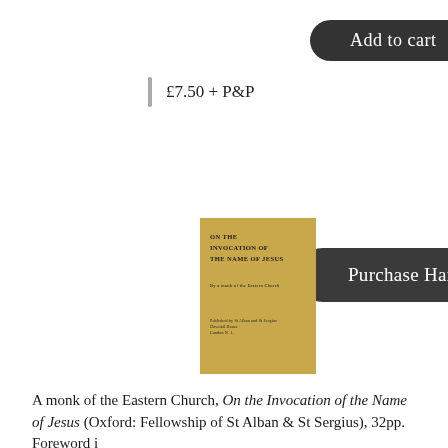[Figure (other): Dark rounded button labeled 'Add to cart']
£7.50 + P&P
[Figure (other): Dark rounded button labeled 'Purchase Hard Copy']
[Figure (illustration): Book cover for 'On the Invocation of the Name of Jesus' with tan/gold background and black text]
A monk of the Eastern Church, On the Invocation of the Name of Jesus (Oxford: Fellowship of St Alban & St Sergius), 32pp.
Foreword i